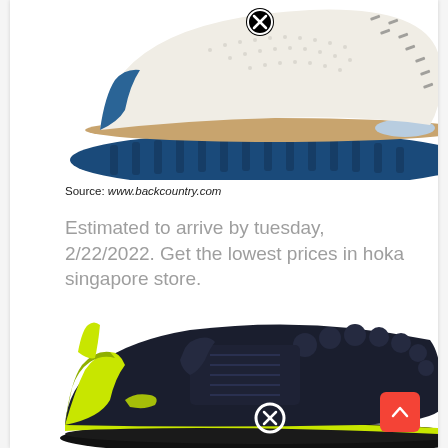[Figure (photo): Partial view of a running shoe with cream/white upper, blue chunky sole with ridges, and tan/gold midsole layer. A black circle with X icon is overlaid on the shoe toe area.]
Source: www.backcountry.com
Estimated to arrive by tuesday, 2/22/2022. Get the lowest prices in hoka singapore store.
[Figure (photo): Partial view of a dark navy/black running shoe with lime green/yellow accents on the heel collar and Hoka logo. A white circle with X icon is overlaid on the shoe. A red back-to-top button with upward arrow is visible at bottom right.]